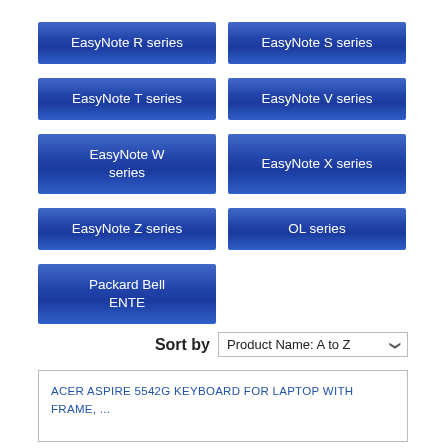EasyNote R series
EasyNote S series
EasyNote T series
EasyNote V series
EasyNote W series
EasyNote X series
EasyNote Z series
OL series
Packard Bell ENTE
Sort by  Product Name: A to Z
ACER ASPIRE 5542G KEYBOARD FOR LAPTOP WITH FRAME, ...